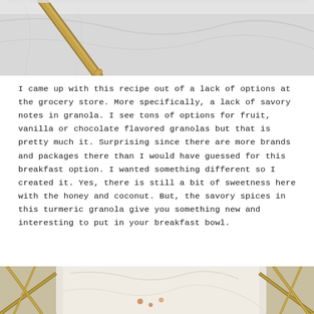[Figure (photo): Top portion of a photo showing a marble surface with a gold/brass utensil handle visible in the upper left area]
I came up with this recipe out of a lack of options at the grocery store. More specifically, a lack of savory notes in granola. I see tons of options for fruit, vanilla or chocolate flavored granolas but that is pretty much it. Surprising since there are more brands and packages there than I would have guessed for this breakfast option. I wanted something different so I created it. Yes, there is still a bit of sweetness here with the honey and coconut. But, the savory spices in this turmeric granola give you something new and interesting to put in your breakfast bowl.
[Figure (photo): Bottom portion of a photo showing a gold/brass geometric wire frame or tray with white paper or fabric inside, partially visible]